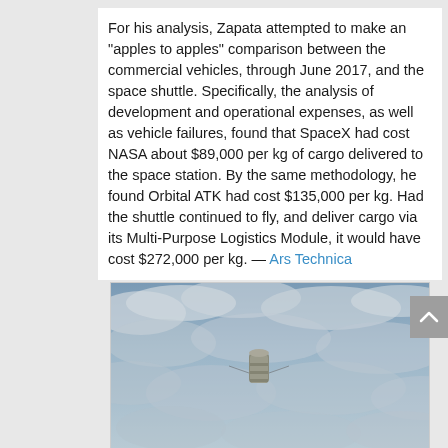For his analysis, Zapata attempted to make an "apples to apples" comparison between the commercial vehicles, through June 2017, and the space shuttle. Specifically, the analysis of development and operational expenses, as well as vehicle failures, found that SpaceX had cost NASA about $89,000 per kg of cargo delivered to the space station. By the same methodology, he found Orbital ATK had cost $135,000 per kg. Had the shuttle continued to fly, and deliver cargo via its Multi-Purpose Logistics Module, it would have cost $272,000 per kg. — Ars Technica
[Figure (photo): A spacecraft or cargo capsule photographed from above against a backdrop of clouds and sky.]